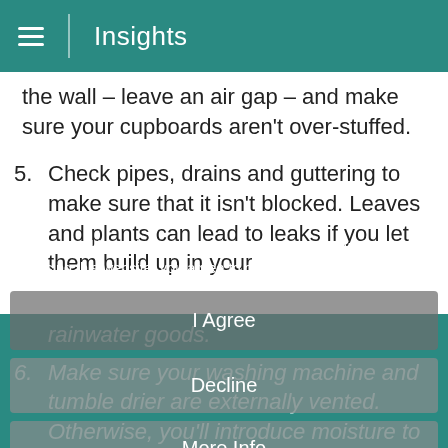Insights
the wall – leave an air gap – and make sure your cupboards aren't over-stuffed.
5. Check pipes, drains and guttering to make sure that it isn't blocked. Leaves and plants can lead to leaks if you let them build up in your rainwater goods.
6. Make sure your washing machine and tumble drier are externally vented. Otherwise, you'll introduce moisture to your home every time you wash and dry your clothes.
7. Check your roof for missing roof tiles (use binoculars if you don't fancy getting up on the roof). Look in your loft as well to double check you don't have any leaks.
We use cookies to improve your experience on our website. By browsing this website, you agree to our use of cookies.
I Agree
Decline
More Info